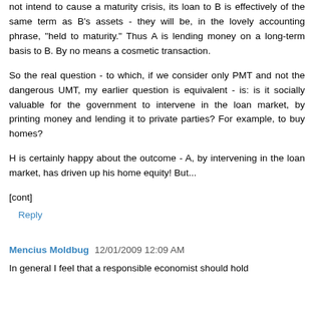not intend to cause a maturity crisis, its loan to B is effectively of the same term as B's assets - they will be, in the lovely accounting phrase, "held to maturity." Thus A is lending money on a long-term basis to B. By no means a cosmetic transaction.
So the real question - to which, if we consider only PMT and not the dangerous UMT, my earlier question is equivalent - is: is it socially valuable for the government to intervene in the loan market, by printing money and lending it to private parties? For example, to buy homes?
H is certainly happy about the outcome - A, by intervening in the loan market, has driven up his home equity! But...
[cont]
Reply
Mencius Moldbug  12/01/2009 12:09 AM
In general I feel that a responsible economist should hold